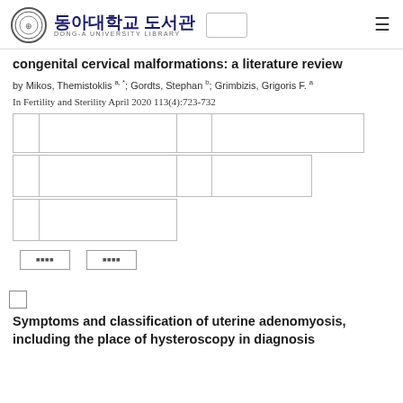동아대학교 도서관 DONG-A UNIVERSITY LIBRARY
congenital cervical malformations: a literature review
by Mikos, Themistoklis a, *; Gordts, Stephan b; Grimbizis, Grigoris F. a
In Fertility and Sterility April 2020 113(4):723-732
Symptoms and classification of uterine adenomyosis, including the place of hysteroscopy in diagnosis